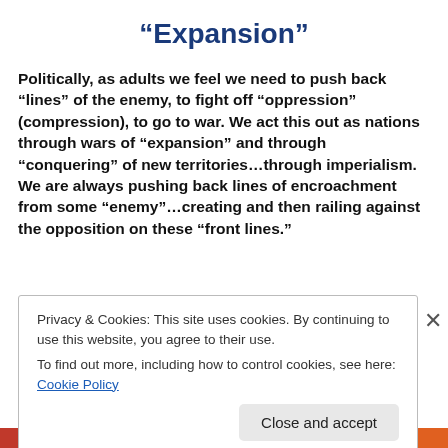“Expansion”
Politically, as adults we feel we need to push back “lines” of the enemy, to fight off “oppression” (compression), to go to war. We act this out as nations through wars of “expansion” and through “conquering” of new territories…through imperialism. We are always pushing back lines of encroachment from some “enemy”…creating and then railing against the opposition on these “front lines.”
Privacy & Cookies: This site uses cookies. By continuing to use this website, you agree to their use.
To find out more, including how to control cookies, see here: Cookie Policy
Close and accept